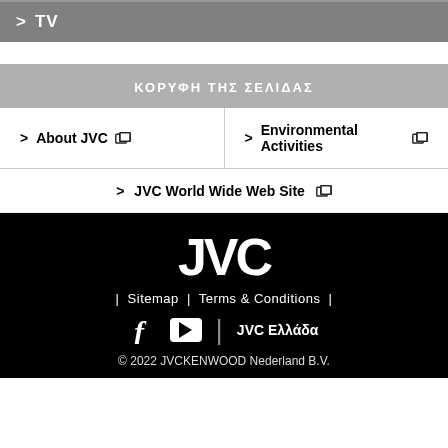> TV
ΚΟΡΥΦΗ ΤΗΣ ΣΕΛΙΔΑΣ
> About JVC [icon]
> Environmental Activities [icon]
> JVC World Wide Web Site [icon]
[Figure (logo): JVC logo in white on black background]
| Sitemap | Terms & Conditions |
f [youtube] | JVC Ελλάδα
© 2022 JVCKENWOOD Nederland B.V.